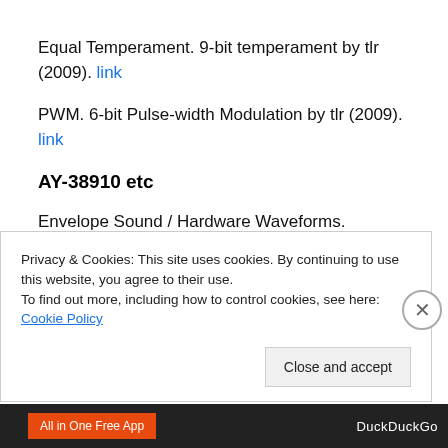Equal Temperament. 9-bit temperament by tlr (2009). link
PWM. 6-bit Pulse-width Modulation by tlr (2009). link
AY-38910 etc
Envelope Sound / Hardware Waveforms. Looping the envelope at a very high frequency gives pure triangle or saw tones, or an masking effect (envelope waveform
Privacy & Cookies: This site uses cookies. By continuing to use this website, you agree to their use.
To find out more, including how to control cookies, see here: Cookie Policy
Close and accept